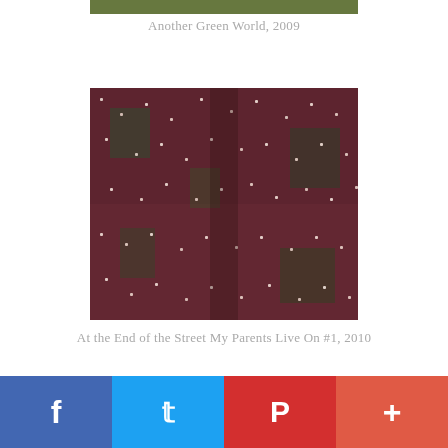[Figure (photo): Partial top of an artwork image, cropped at top — shows dense colorful pixel-like pattern, greenish tones, labeled Another Green World 2009]
Another Green World, 2009
[Figure (photo): Square artwork image with dense speckled pattern of pink, red, green, and black dots/pixels forming an abstract pointillist composition]
At the End of the Street My Parents Live On #1, 2010
[Figure (photo): Partial bottom image cropped — another artwork with colorful dense speckled pattern, orange and green tones]
f  t  p  +